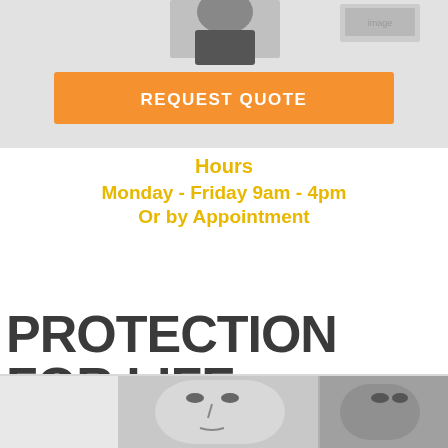[Figure (photo): Partial view of a person in business attire at the top of the page, black and white photo cropped at the top]
REQUEST QUOTE
Hours
Monday - Friday 9am - 4pm
Or by Appointment
PROTECTION FOR LIFE
[Figure (photo): Black and white photo of a woman and a man, close-up faces, at the bottom of the page]